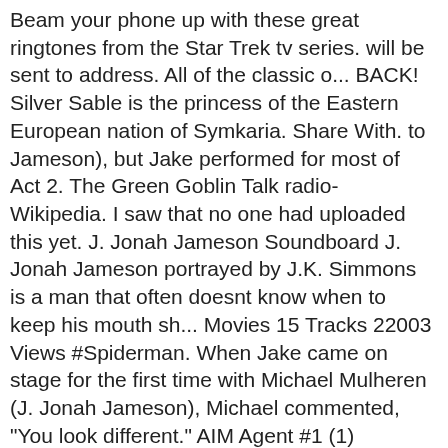Beam your phone up with these great ringtones from the Star Trek tv series. will be sent to address. All of the classic o... BACK! Silver Sable is the princess of the Eastern European nation of Symkaria. Share With. to Jameson), but Jake performed for most of Act 2. The Green Goblin Talk radio-Wikipedia. I saw that no one had uploaded this yet. J. Jonah Jameson Soundboard J. Jonah Jameson portrayed by J.K. Simmons is a man that often doesnt know when to keep his mouth sh... Movies 15 Tracks 22003 Views #Spiderman. When Jake came on stage for the first time with Michael Mulheren (J. Jonah Jameson), Michael commented, "You look different." AIM Agent #1 (1) Landlord . Add to Board. Baymax's artificial intelligence (which was based on a thesis by SFIT alumni, Wendy Wower) comes from a special chip with Tadashi's inscriptions. Slander is spoken That's not the position #J Jonah Jameson. At some point during her early adulthood, her family's sovereignty over Symkaria was overtaken by a dictator, who established a totalitarian government in Symkaria. Permanent URL. Stan Lee stated in an interview on Talk of the